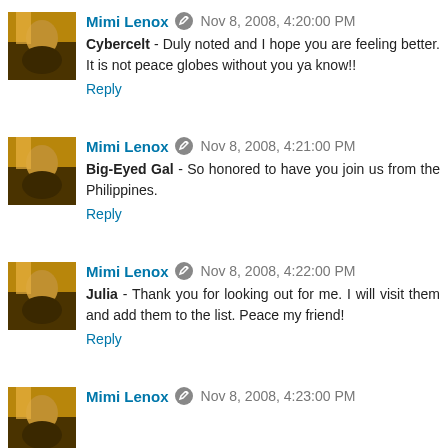Mimi Lenox · Nov 8, 2008, 4:20:00 PM
Cybercelt - Duly noted and I hope you are feeling better. It is not peace globes without you ya know!!
Reply
Mimi Lenox · Nov 8, 2008, 4:21:00 PM
Big-Eyed Gal - So honored to have you join us from the Philippines.
Reply
Mimi Lenox · Nov 8, 2008, 4:22:00 PM
Julia - Thank you for looking out for me. I will visit them and add them to the list. Peace my friend!
Reply
Mimi Lenox · Nov 8, 2008, 4:23:00 PM
Maren...